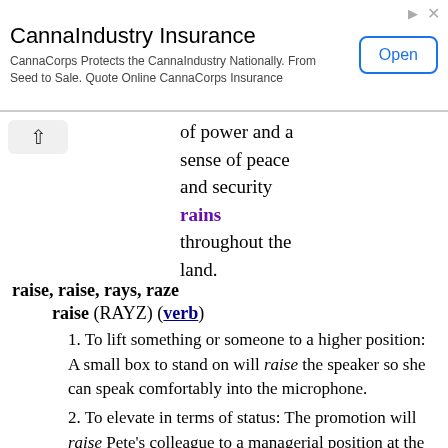[Figure (other): CannaIndustry Insurance advertisement banner with Open button]
of power and a sense of peace and security rains throughout the land.
raise, raise, rays, raze
raise (RAYZ) (verb)
1. To lift something or someone to a higher position: A small box to stand on will raise the speaker so she can speak comfortably into the microphone.
2. To elevate in terms of status: The promotion will raise Pete's colleague to a managerial position at the factory.
3. To enhance or to invigorate: Such a